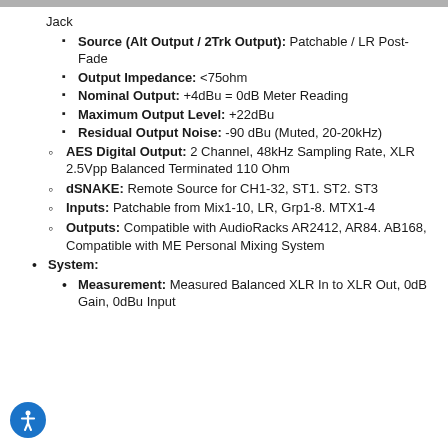Jack
Source (Alt Output / 2Trk Output): Patchable / LR Post-Fade
Output Impedance: <75ohm
Nominal Output: +4dBu = 0dB Meter Reading
Maximum Output Level: +22dBu
Residual Output Noise: -90 dBu (Muted, 20-20kHz)
AES Digital Output: 2 Channel, 48kHz Sampling Rate, XLR 2.5Vpp Balanced Terminated 110 Ohm
dSNAKE: Remote Source for CH1-32, ST1. ST2. ST3
Inputs: Patchable from Mix1-10, LR, Grp1-8. MTX1-4
Outputs: Compatible with AudioRacks AR2412, AR84. AB168, Compatible with ME Personal Mixing System
System:
Measurement: Measured Balanced XLR In to XLR Out, 0dB Gain, 0dBu Input